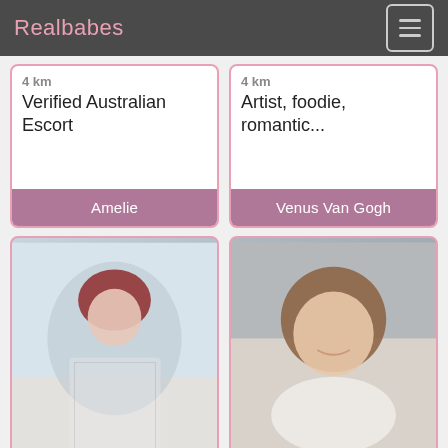Realbabes
4 km
Verified Australian Escort
Amelie
4 km
Artist, foodie, romantic...
Venus Van Gogh
[Figure (photo): Woman with red hair wearing black and white checkered dress at a beach]
[Figure (photo): Woman with long brown hair smiling, lying down on white surface]